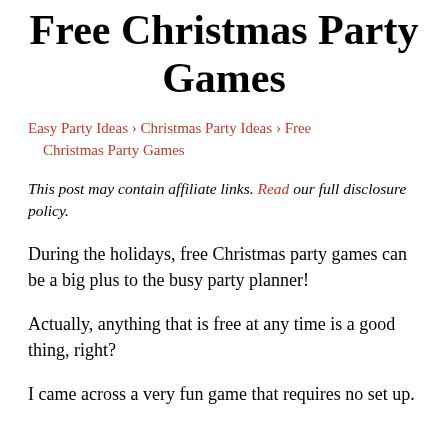Free Christmas Party Games
Easy Party Ideas › Christmas Party Ideas › Free Christmas Party Games
This post may contain affiliate links. Read our full disclosure policy.
During the holidays, free Christmas party games can be a big plus to the busy party planner!
Actually, anything that is free at any time is a good thing, right?
I came across a very fun game that requires no set up.